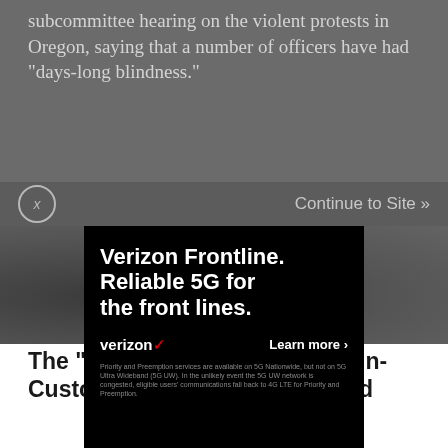subcommittee hearing on the violent protests in Oregon, saying that a number of officers have had "days-long blindness."
[Figure (screenshot): Web advertisement overlay with close button (x) and 'Continue to Site »' link, on top of a dark background news page. The ad is for Verizon Frontline with text: 'Verizon Frontline. Reliable 5G for the front lines.' with Verizon logo, 'Learn more >' button, and disclaimer text.]
The "Accident Chain" and the In-Custody Death of George Floyd
A sentence of article body text begins below the title (partially visible).